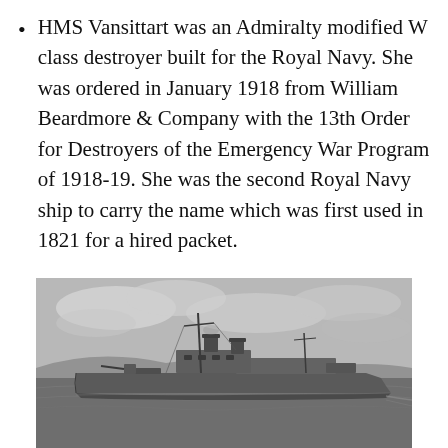HMS Vansittart was an Admiralty modified W class destroyer built for the Royal Navy. She was ordered in January 1918 from William Beardmore & Company with the 13th Order for Destroyers of the Emergency War Program of 1918-19. She was the second Royal Navy ship to carry the name which was first used in 1821 for a hired packet.
[Figure (photo): Black and white photograph of HMS Vansittart, a Royal Navy destroyer, shown at anchor or underway in calm water with hills or land visible in the background and a cloudy sky overhead.]